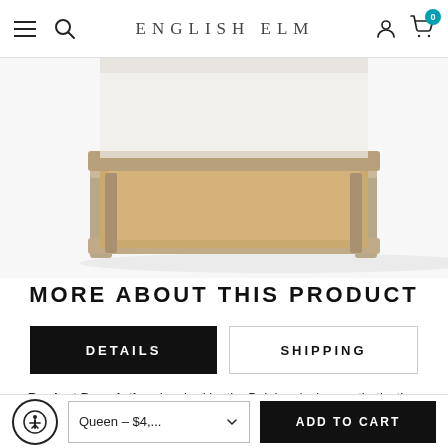ENGLISH ELM
[Figure (photo): Partial view of a bed frame with wooden legs and tan/linen upholstered panel, showing the foot of the bed from a slightly elevated angle against a white background.]
MORE ABOUT THIS PRODUCT
DETAILS | SHIPPING
Product Description: Inspired by the Belgian design aesthetic, the Bon Vivant De-Constructed King Bed combines a button tufted soft gray linen upholstered shelter headboard with a
Queen – $4,... ADD TO CART